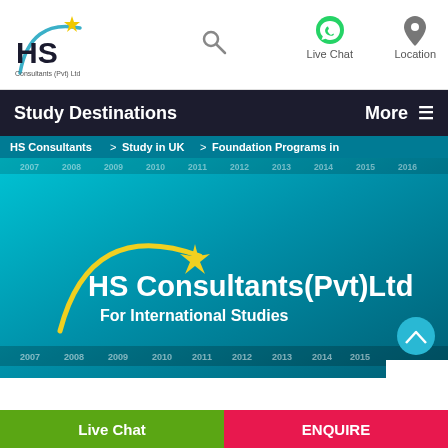[Figure (logo): HS Consultants (Pvt) Ltd logo with arc and star in header]
[Figure (other): Search icon (magnifying glass)]
[Figure (other): WhatsApp icon with Live Chat label]
[Figure (other): Location pin icon with Location label]
Study Destinations
More ≡
HS Consultants > Study in UK > Foundation Programs in
[Figure (logo): Large HS Consultants (Pvt) Ltd For International Studies logo on teal gradient background with star and arc]
2007 2008 2009 2010 2011 2012 2013 2014 2015 2016
Live Chat
ENQUIRE